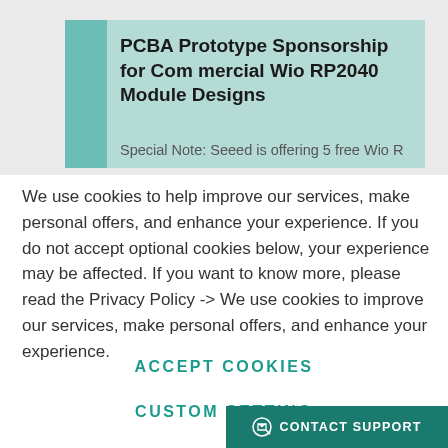PCBA Prototype Sponsorship for Commercial Wio RP2040 Module Designs
Special Note: Seeed is offering 5 free Wio R
We use cookies to help improve our services, make personal offers, and enhance your experience. If you do not accept optional cookies below, your experience may be affected. If you want to know more, please read the Privacy Policy -> We use cookies to improve our services, make personal offers, and enhance your experience.
ACCEPT COOKIES
CUSTOM SETTING
CONTACT SUPPORT